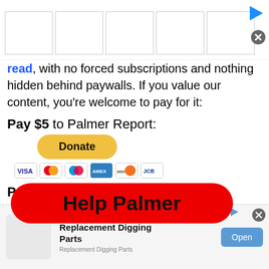[Figure (screenshot): Top advertisement banner with 5 empty white cells with grey borders, a play icon top right, and a close (X) button]
read, with no forced subscriptions and nothing hidden behind paywalls. If you value our content, you're welcome to pay for it:
Pay $5 to Palmer Report:
[Figure (screenshot): Yellow PayPal Donate button followed by payment card icons (Visa, Mastercard, Maestro, Amex, Discover, JCB)]
Pay $25 to Palmer Report:
[Figure (screenshot): Yellow PayPal Donate button followed by payment card icons (Visa, Mastercard, Maestro, partial row)]
Pay $75
[Figure (screenshot): Red pill-shaped overlay button with bold black text 'Help Palmer']
[Figure (screenshot): Bottom advertisement banner: Replacement Digging Parts ad with icon, Open button, and small label text]